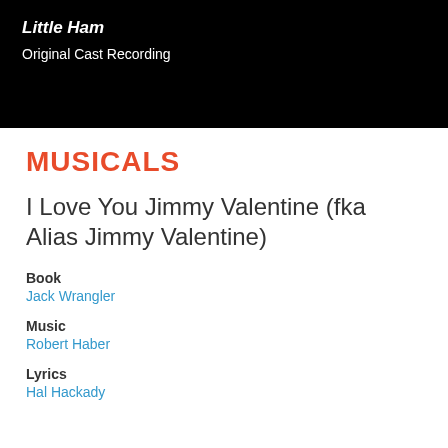[Figure (other): Black banner showing album art for 'Little Ham - Original Cast Recording']
MUSICALS
I Love You Jimmy Valentine (fka Alias Jimmy Valentine)
Book
Jack Wrangler
Music
Robert Haber
Lyrics
Hal Hackady